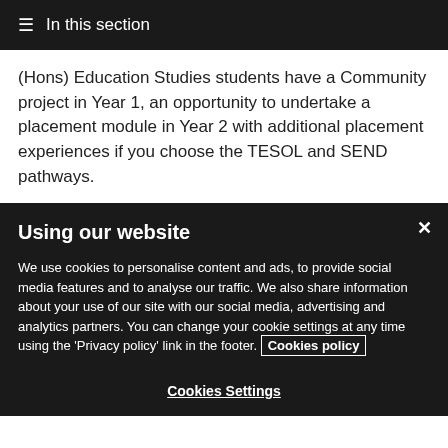☰ In this section
(Hons) Education Studies students have a Community project in Year 1, an opportunity to undertake a placement module in Year 2 with additional placement experiences if you choose the TESOL and SEND pathways.
Using our website
We use cookies to personalise content and ads, to provide social media features and to analyse our traffic. We also share information about your use of our site with our social media, advertising and analytics partners. You can change your cookie settings at any time using the 'Privacy policy' link in the footer. Cookies policy
Cookies Settings